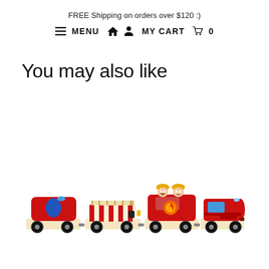FREE Shipping on orders over $120 :)
≡ MENU  🏠  👤  MY CART  🛒  0
You may also like
[Figure (photo): A wooden toy fire train set with multiple cars: a red water tank car, a flatcar with a ladder, a fire engine car with two firefighter figurines wearing yellow helmets, and a red locomotive. All cars have black wheels and wood-colored bases.]